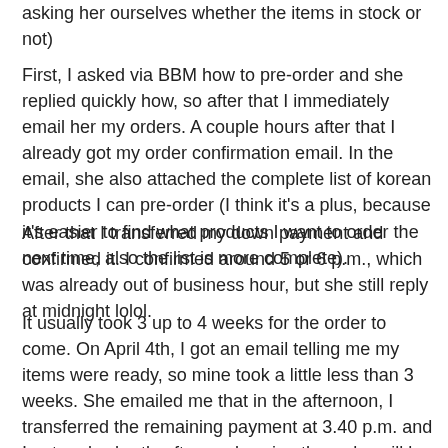asking her ourselves whether the items in stock or not)
First, I asked via BBM how to pre-order and she replied quickly how, so after that I immediately email her my orders. A couple hours after that I already got my order confirmation email. In the email, she also attached the complete list of korean products I can pre-order (I think it's a plus, because it's easier to find what products I want to order the next time, also the list is more complete).
After that I transferred my down payment and confirmed it. I confirmed around 5 or 6 p.m., which was already out of business hour, but she still reply at midnight lolol.
It usually took 3 up to 4 weeks for the order to come. On April 4th, I got an email telling me my items were ready, so mine took a little less than 3 weeks. She emailed me that in the afternoon, I transferred the remaining payment at 3.40 p.m. and I got reply shortly afterward saying the order will be sent that day!! I thought my order will be sent the next day cause it was already evening o.O I was so impressed by the customer service!!